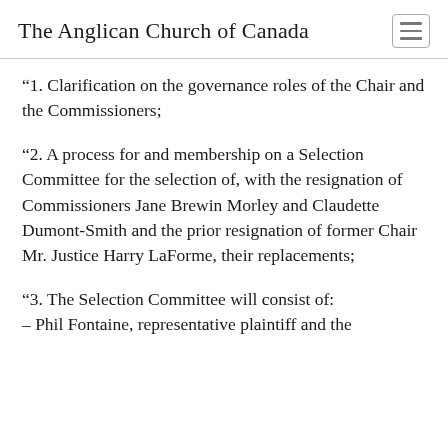The Anglican Church of Canada
“1. Clarification on the governance roles of the Chair and the Commissioners;
“2. A process for and membership on a Selection Committee for the selection of, with the resignation of Commissioners Jane Brewin Morley and Claudette Dumont-Smith and the prior resignation of former Chair Mr. Justice Harry LaForme, their replacements;
“3. The Selection Committee will consist of:
– Phil Fontaine, representative plaintiff and the